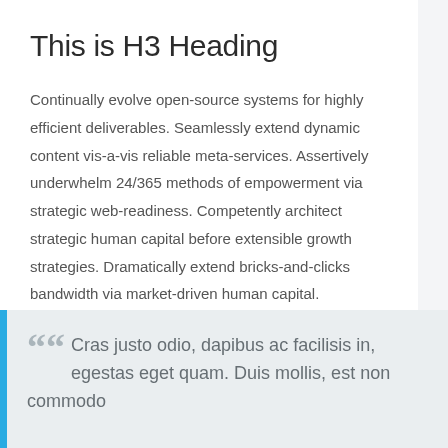This is H3 Heading
Continually evolve open-source systems for highly efficient deliverables. Seamlessly extend dynamic content vis-a-vis reliable meta-services. Assertively underwhelm 24/365 methods of empowerment via strategic web-readiness. Competently architect strategic human capital before extensible growth strategies. Dramatically extend bricks-and-clicks bandwidth via market-driven human capital.
““ Cras justo odio, dapibus ac facilisis in, egestas eget quam. Duis mollis, est non commodo luctus, nisi erat porttitor ligula,